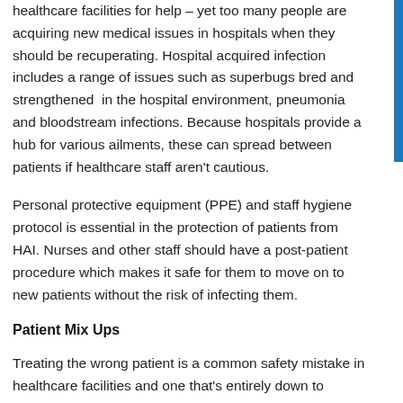healthcare facilities for help – yet too many people are acquiring new medical issues in hospitals when they should be recuperating. Hospital acquired infection includes a range of issues such as superbugs bred and strengthened in the hospital environment, pneumonia and bloodstream infections. Because hospitals provide a hub for various ailments, these can spread between patients if healthcare staff aren't cautious.
Personal protective equipment (PPE) and staff hygiene protocol is essential in the protection of patients from HAI. Nurses and other staff should have a post-patient procedure which makes it safe for them to move on to new patients without the risk of infecting them.
Patient Mix Ups
Treating the wrong patient is a common safety mistake in healthcare facilities and one that's entirely down to